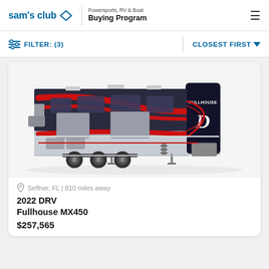sam's club | Powersports, RV & Boat Buying Program
FILTER: (3) | CLOSEST FIRST
[Figure (photo): A 2022 DRV Fullhouse MX450 fifth-wheel RV with dark gray, black, and red graphics including the 'Fullhouse' and 'D' logo on the rear cap, shown in a three-quarter view against a white background.]
Seffner, FL | 810 miles away
2022 DRV Fullhouse MX450
$257,565